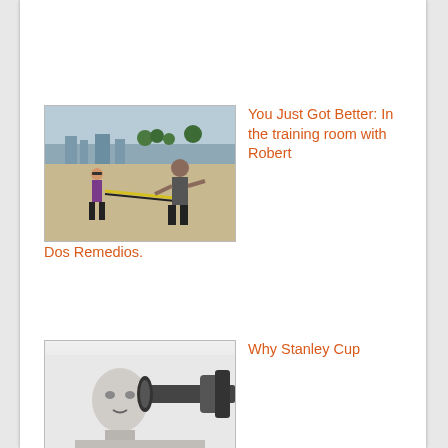[Figure (photo): Two people on a beach, one pulling resistance bands, another demonstrating exercises. Outdoor fitness training scene.]
You Just Got Better: In the training room with Robert Dos Remedios.
[Figure (photo): Black and white photo of a man near gym equipment, weightlifting barbell visible.]
Why Stanley Cup